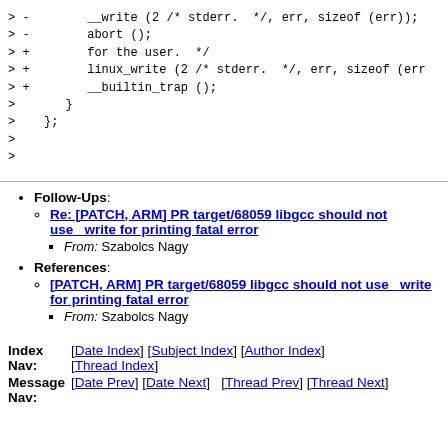> -        __write (2 /* stderr.  */, err, sizeof (err));
> -        abort ();
> +        for the user.  */
> +        linux_write (2 /* stderr.  */, err, sizeof (err
> +        __builtin_trap ();
>       }
>    };
>
>
Follow-Ups: Re: [PATCH, ARM] PR target/68059 libgcc should not use __write for printing fatal error — From: Szabolcs Nagy
References: [PATCH, ARM] PR target/68059 libgcc should not use __write for printing fatal error — From: Szabolcs Nagy
Index Nav: [Date Index] [Subject Index] [Author Index] [Thread Index]
Message Nav: [Date Prev] [Date Next] [Thread Prev] [Thread Next]